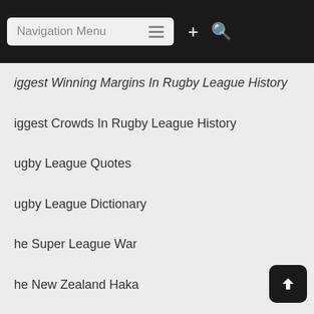Navigation Menu
iggest Winning Margins In Rugby League History
iggest Crowds In Rugby League History
ugby League Quotes
ugby League Dictionary
he Super League War
he New Zealand Haka
unny Rugby League Teams
ugby League Rankins Lists
RL Rumours
IateRugbyUnion.com
RL History
RL History Books
ecord Books
layer Profiles